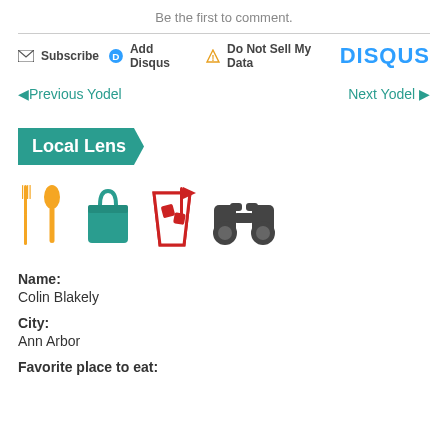Be the first to comment.
Subscribe  Add Disqus  Do Not Sell My Data  DISQUS
◄Previous Yodel    Next Yodel►
[Figure (illustration): Local Lens arrow badge in teal]
[Figure (infographic): Four icons: fork and spoon (yellow), shopping bag (teal), drink cup with flag (red), binoculars (dark gray)]
Name:
Colin Blakely
City:
Ann Arbor
Favorite place to eat: